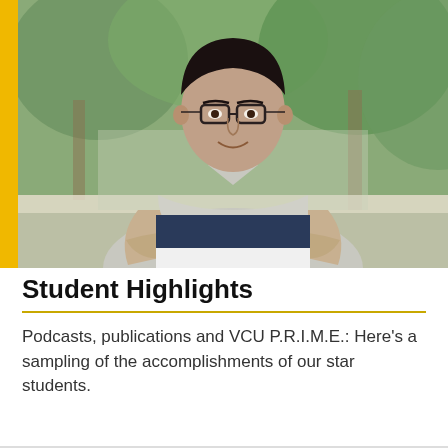[Figure (photo): A young man with glasses, wearing a grey, navy, and white striped polo shirt, standing with arms crossed in an outdoor setting with blurred trees in the background. A yellow vertical bar is visible on the left edge.]
Student Highlights
Podcasts, publications and VCU P.R.I.M.E.: Here’s a sampling of the accomplishments of our star students.